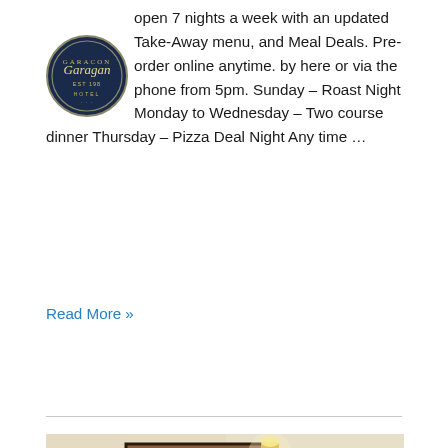open 7 nights a week with an updated Take-Away menu, and Meal Deals. Pre-order online anytime. by here or via the phone from 5pm. Sunday – Roast Night Monday to Wednesday – Two course dinner Thursday – Pizza Deal Night Any time ...
Read More »
[Figure (photo): Interior of a restaurant dining room showing a flower arrangement with a purple tulip, orange ranunculus, yellow flowers, and white orchids in a glass vase on a table. Behind is a framed landscape painting of a waterfall on the left wall, and another framed artwork partially visible on the right. A small sign is visible near the flowers. A coat hanger with a dark jacket is on the far right.]